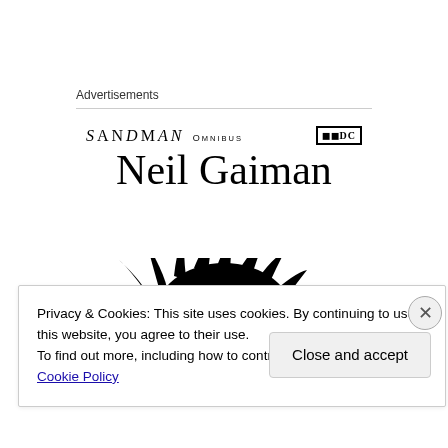Advertisements
[Figure (illustration): Sandman Omnibus book advertisement featuring the title 'SANDMAN OMNIBUS' with a DC logo, author name 'Neil Gaiman' in large serif font, and a black silhouette of a spiky-haired figure.]
Privacy & Cookies: This site uses cookies. By continuing to use this website, you agree to their use.
To find out more, including how to control cookies, see here: Cookie Policy
Close and accept